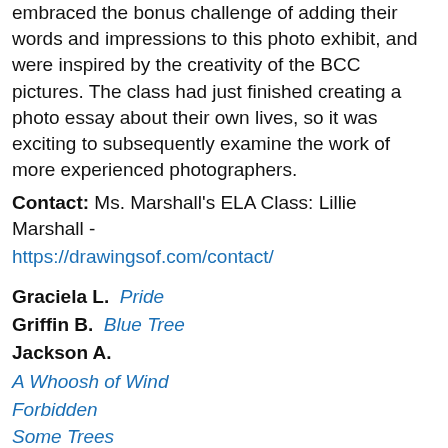embraced the bonus challenge of adding their words and impressions to this photo exhibit, and were inspired by the creativity of the BCC pictures. The class had just finished creating a photo essay about their own lives, so it was exciting to subsequently examine the work of more experienced photographers.
Contact: Ms. Marshall's ELA Class: Lillie Marshall - https://drawingsof.com/contact/
Graciela L.  Pride
Griffin B.  Blue Tree
Jackson A.
A Whoosh of Wind
Forbidden
Some Trees
Jacqueline N.
Hiding Behind the Trees
Sea Sick
Khalid M.  Water